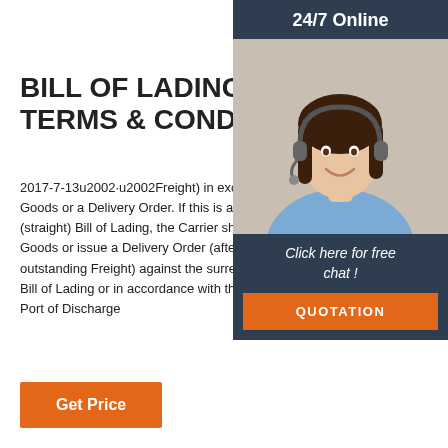BILL OF LADING STANDARD TERMS & CONDITIONS
2017-7-13u2002·u2002Freight) in exchange for Goods or a Delivery Order. If this is a non-neg (straight) Bill of Lading, the Carrier shall delive Goods or issue a Delivery Order (after paymen outstanding Freight) against the surrender of c Bill of Lading or in accordance with the nationa Port of Discharge
[Figure (photo): Woman wearing headset smiling, customer service representative, with '24/7 Online' header, 'Click here for free chat!' text and orange QUOTATION button on dark navy sidebar panel]